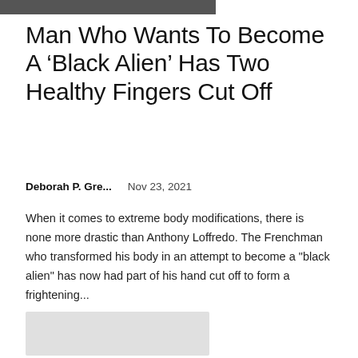[Figure (photo): Partial dark image strip at top of page]
Man Who Wants To Become A ‘Black Alien’ Has Two Healthy Fingers Cut Off
Deborah P. Gre...    Nov 23, 2021
When it comes to extreme body modifications, there is none more drastic than Anthony Loffredo. The Frenchman who transformed his body in an attempt to become a "black alien" has now had part of his hand cut off to form a frightening...
[Figure (photo): Light grey placeholder image rectangle]